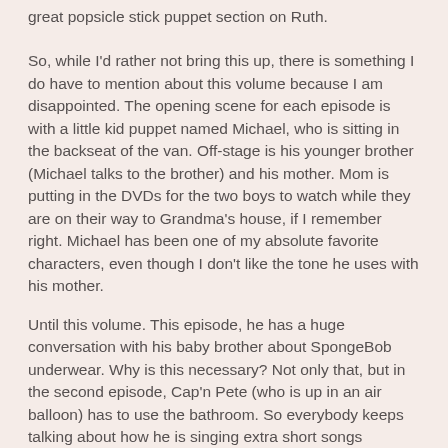great popsicle stick puppet section on Ruth.
So, while I'd rather not bring this up, there is something I do have to mention about this volume because I am disappointed.  The opening scene for each episode is with a little kid puppet named Michael, who is sitting in the backseat of the van.  Off-stage is his younger brother (Michael talks to the brother) and his mother.  Mom is putting in the DVDs for the two boys to watch while they are on their way to Grandma's house, if I remember right.  Michael has been one of my absolute favorite characters, even though I don't like the tone he uses with his mother.
Until this volume.  This episode, he has a huge conversation with his baby brother about SpongeBob underwear.  Why is this necessary?  Not only that, but in the second episode, Cap'n Pete (who is up in an air balloon) has to use the bathroom.  So everybody keeps talking about how he is singing extra short songs because he needs to go to the bathroom.  Why?  Can't we get through a children's show without this level of humor?  Only my four year old found any humor in this at all.